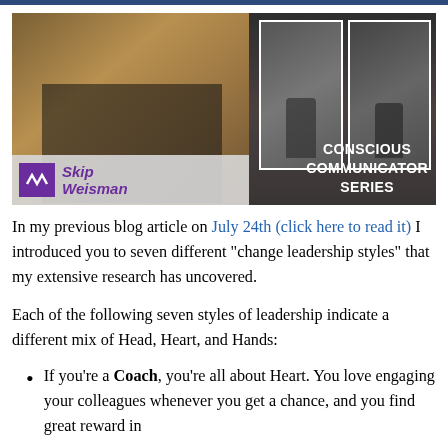[Figure (photo): Banner image with portrait of Skip Weisman (bald man with glasses in dark suit) on left against brown background, two action photos of a speaker on stage on right against dark background, 'Conscious Communicator Series' text in white on lower right, Skip Weisman logo with purple W icon on lower left]
In my previous blog article on July 24th (click here to read it) I introduced you to seven different "change leadership styles" that my extensive research has uncovered.
Each of the following seven styles of leadership indicate a different mix of Head, Heart, and Hands:
If you're a Coach, you're all about Heart. You love engaging your colleagues whenever you get a chance, and you find great reward in